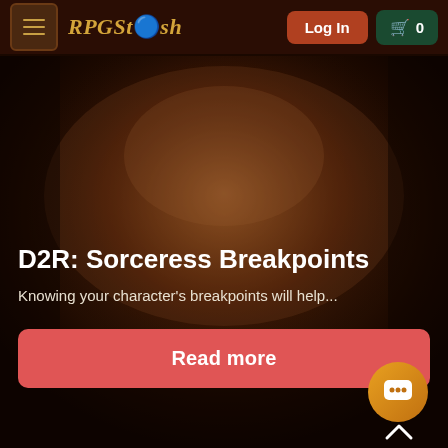RPGStash — Log In | Cart 0
[Figure (screenshot): Dark fantasy background image showing shadowy figures and reddish-brown atmospheric lighting]
D2R: Sorceress Breakpoints
Knowing your character's breakpoints will help...
Read more